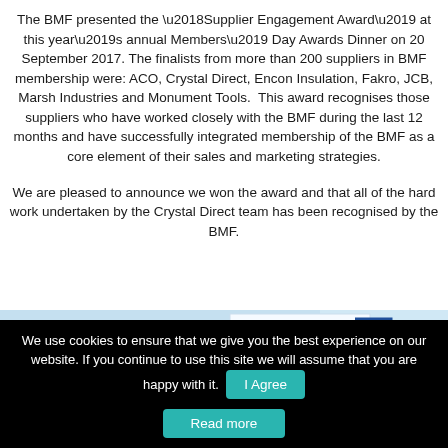The BMF presented the ‘Supplier Engagement Award’ at this year’s annual Members’ Day Awards Dinner on 20 September 2017. The finalists from more than 200 suppliers in BMF membership were: ACO, Crystal Direct, Encon Insulation, Fakro, JCB, Marsh Industries and Monument Tools.  This award recognises those suppliers who have worked closely with the BMF during the last 12 months and have successfully integrated membership of the BMF as a core element of their sales and marketing strategies.
We are pleased to announce we won the award and that all of the hard work undertaken by the Crystal Direct team has been recognised by the BMF.
[Figure (photo): Partial view of a Crystal Direct award or certificate with blue and white design elements including a corner bracket graphic]
We use cookies to ensure that we give you the best experience on our website. If you continue to use this site we will assume that you are happy with it. I Agree
Read more